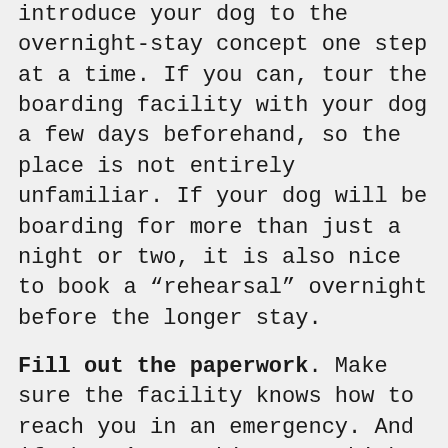introduce your dog to the overnight-stay concept one step at a time. If you can, tour the boarding facility with your dog a few days beforehand, so the place is not entirely unfamiliar. If your dog will be boarding for more than just a night or two, it is also nice to book a “rehearsal” overnight before the longer stay.
Fill out the paperwork. Make sure the facility knows how to reach you in an emergency. And if there’s anything you think they should know about your precious pup’s quirks, behavior, eating habits or other details — make sure to tell them.
PetSmart PetsHotel offers overnight boarding with 24/7 supervision. For